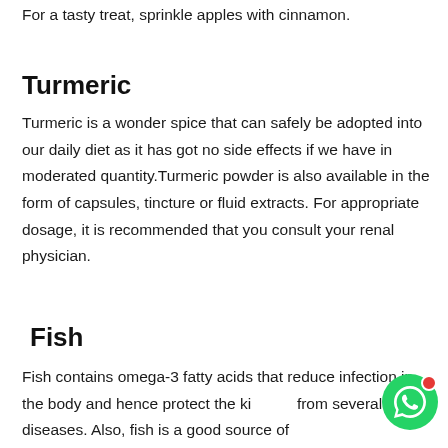For a tasty treat, sprinkle apples with cinnamon.
Turmeric
Turmeric is a wonder spice that can safely be adopted into our daily diet as it has got no side effects if we have in moderated quantity.Turmeric powder is also available in the form of capsules, tincture or fluid extracts. For appropriate dosage, it is recommended that you consult your renal physician.
Fish
Fish contains omega-3 fatty acids that reduce infection in the body and hence protect the kidneys from several diseases. Also, fish is a good source of